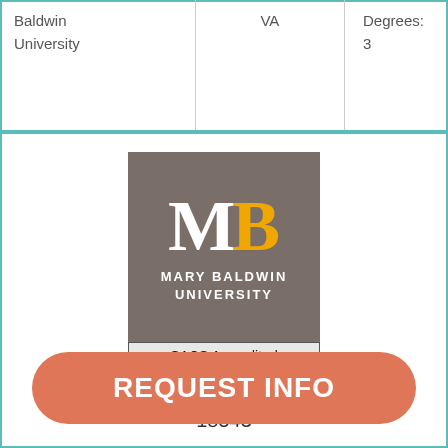|  |  |  |
| --- | --- | --- |
| Baldwin
University | VA | Degrees: 3 |
[Figure (logo): Mary Baldwin University logo with grey background, white M and gold B letters, text MARY BALDWIN UNIVERSITY, and SACS Accredited badge below]
TUITION
18543
REQUEST INFO